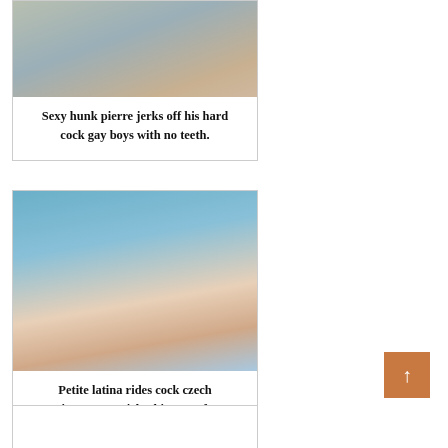[Figure (photo): Photo of a person on a teal cushioned surface]
Sexy hunk pierre jerks off his hard cock gay boys with no teeth.
[Figure (photo): Photo of a young woman in a polka dot bikini by a pool]
Petite latina rides cock czech experiment teen girl asking guy for sex
[Figure (photo): Partially visible photo card at bottom]